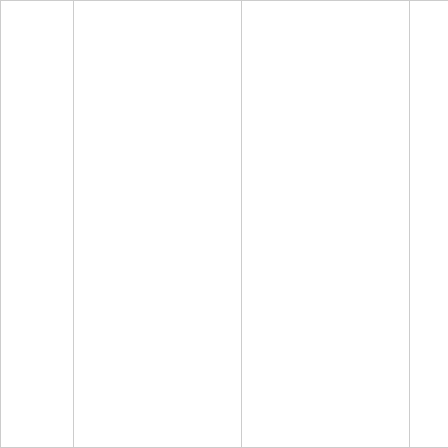|  |  |  |  |  | will be used along with collaborate and virtual classroom. Tasks will be created to get students used |